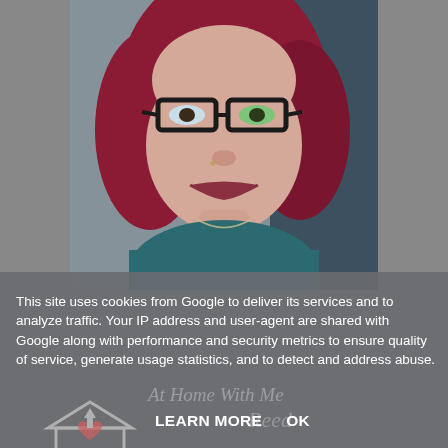[Figure (photo): Selfie/portrait photo of a woman with red/magenta hair, black rectangular glasses, a nose piercing, smiling, wearing a teal top, against a gray-blue background]
This site uses cookies from Google to deliver its services and to analyze traffic. Your IP address and user-agent are shared with Google along with performance and security metrics to ensure quality of service, generate usage statistics, and to detect and address abuse.
[Figure (illustration): Cookie consent overlay buttons: LEARN MORE and OK, with a decorative house/home icon and script watermark text 'At Home With Me' and 'Reed']